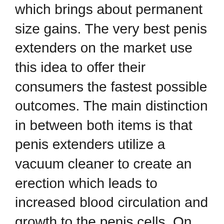which brings about permanent size gains. The very best penis extenders on the market use this idea to offer their consumers the fastest possible outcomes. The main distinction in between both items is that penis extenders utilize a vacuum cleaner to create an erection which leads to increased blood circulation and growth to the penis cells. On the other hand, penis pumps make use of hand-operated excitement to achieve this.
If you want to know exactly how penis extenders work, then there is no better resource than this internet site. The fundamental principle remains the very same, the only difference being the technique utilized to expand the cells had in